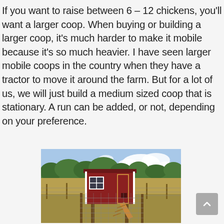If you want to raise between 6 – 12 chickens, you'll want a larger coop. When buying or building a larger coop, it's much harder to make it mobile because it's so much heavier. I have seen larger mobile coops in the country when they have a tractor to move it around the farm. But for a lot of us, we will just build a medium sized coop that is stationary. A run can be added, or not, depending on your preference.
[Figure (photo): A red wooden chicken coop elevated on stilts with a white-trimmed window on the left side, a wooden door frame on the right, and a ramp leading down to the ground. The coop is surrounded by wire fencing. Background shows an open field with trees and a partly cloudy sky.]